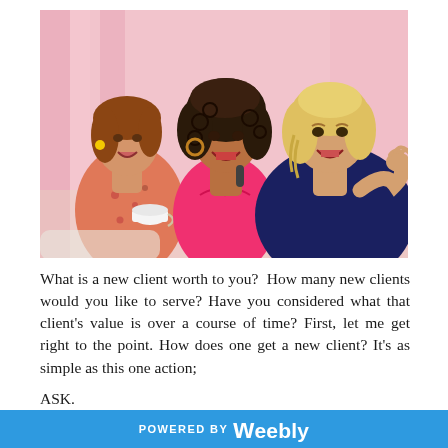[Figure (photo): Three women laughing and socializing together. One with red-brown hair holding a tea cup, one with curly dark hair in a pink top, and one with blonde hair in a navy top. Pink curtain background.]
What is a new client worth to you?  How many new clients would you like to serve? Have you considered what that client's value is over a course of time? First, let me get right to the point. How does one get a new client? It's as simple as this one action;
ASK.
Yes. That is the big secret to building a successful
POWERED BY weebly